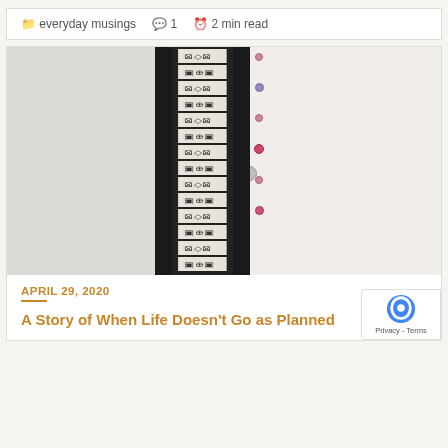everyday musings   1   2 min read
[Figure (photo): A photo showing a door or wardrobe with a black and white patterned fabric strip running vertically in the center, flanked by dark borders, against light-colored walls/surfaces. Some decorative beads or charms visible on the right side.]
APRIL 29, 2020
A Story of When Life Doesn't Go as Planned